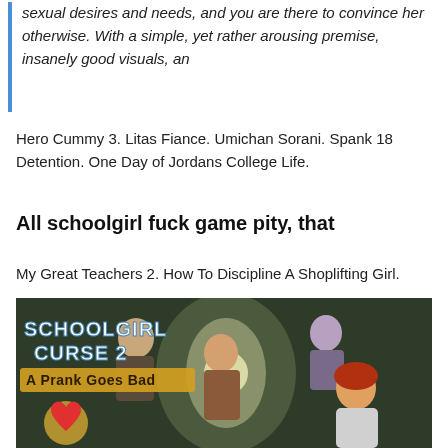sexual desires and needs, and you are there to convince her otherwise. With a simple, yet rather arousing premise, insanely good visuals, an
Hero Cummy 3. Litas Fiance. Umichan Sorani. Spank 18 Detention. One Day of Jordans College Life.
All schoolgirl fuck game pity, that
My Great Teachers 2. How To Discipline A Shoplifting Girl.
[Figure (illustration): Cartoon illustration titled 'Schoolgirl Curse 2: A Prank Goes Bad' showing animated characters in a school setting with a heart logo at the bottom left.]